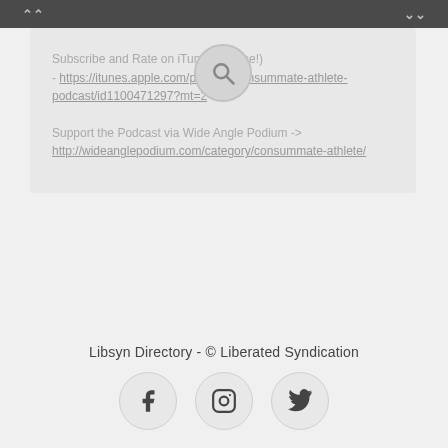navigation bar with up and down arrows
Subscribe and Rate on iTunes (please!) - https://itunes.apple.com/podcast/consummate-athlete-podcast/id1100471297?mt=2
Support the Podcast via Wide Angle Podium -> http://wideanglepodium.com/category/consummate-athlete/
Libsyn Directory - © Liberated Syndication
[Figure (other): Social media icons: Facebook, Instagram, Twitter in circular buttons]